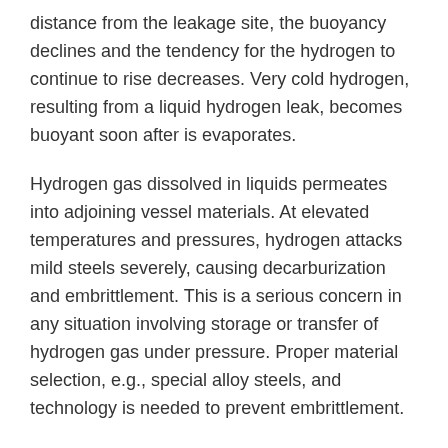distance from the leakage site, the buoyancy declines and the tendency for the hydrogen to continue to rise decreases. Very cold hydrogen, resulting from a liquid hydrogen leak, becomes buoyant soon after is evaporates.
Hydrogen gas dissolved in liquids permeates into adjoining vessel materials. At elevated temperatures and pressures, hydrogen attacks mild steels severely, causing decarburization and embrittlement. This is a serious concern in any situation involving storage or transfer of hydrogen gas under pressure. Proper material selection, e.g., special alloy steels, and technology is needed to prevent embrittlement.
Hydrogen reacts both with non-metals (high electro-negativity) and with metals (low electro-negativity) to